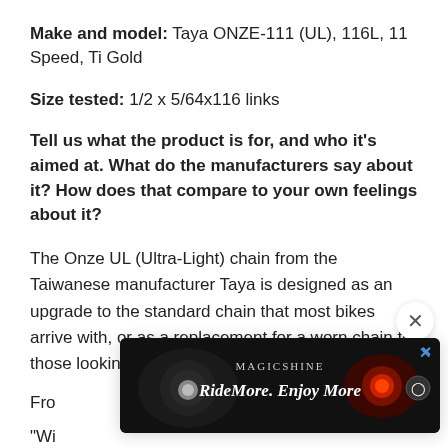Make and model: Taya ONZE-111 (UL), 116L, 11 Speed, Ti Gold
Size tested: 1/2 x 5/64x116 links
Tell us what the product is for, and who it's aimed at. What do the manufacturers say about it? How does that compare to your own feelings about it?
The Onze UL (Ultra-Light) chain from the Taiwanese manufacturer Taya is designed as an upgrade to the standard chain that most bikes arrive with, or as a replacement for a worn chain for those looking to shed a little weight.
Fro
"Wi
[Figure (screenshot): Advertisement overlay from Magicshine showing 'RideMore. Enjoy More' with bike light imagery on dark background, with a close (X) button above it.]